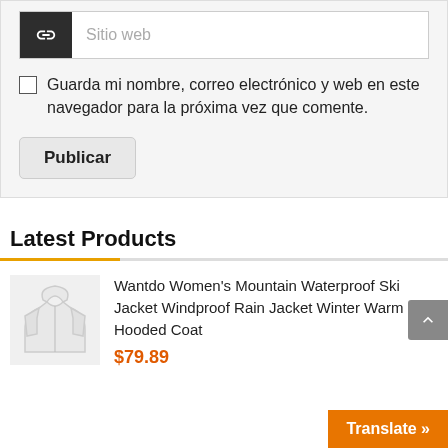[Figure (screenshot): URL/website input field with a dark link icon on the left and placeholder text 'Sitio web' in gray]
Guarda mi nombre, correo electrónico y web en este navegador para la próxima vez que comente.
Publicar
Latest Products
Wantdo Women's Mountain Waterproof Ski Jacket Windproof Rain Jacket Winter Warm Hooded Coat
$79.89